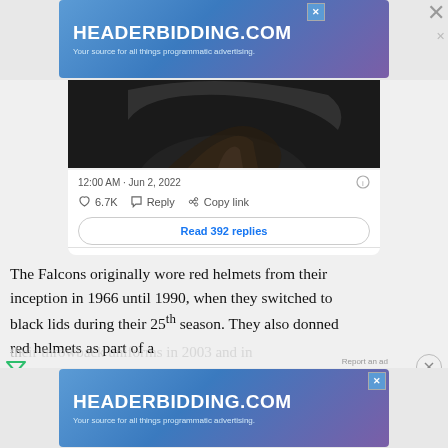[Figure (screenshot): Top advertisement banner for HEADERBIDDING.COM with text 'Your source for all things programmatic advertising.' on a blue-purple gradient background.]
[Figure (photo): Dark photo of a hand holding a football helmet, partially visible at the top of a tweet card.]
12:00 AM · Jun 2, 2022
6.7K  Reply  Copy link
Read 392 replies
The Falcons originally wore red helmets from their inception in 1966 until 1990, when they switched to black lids during their 25th season. They also donned red helmets as part of a
Report an ad
[Figure (screenshot): Bottom advertisement banner for HEADERBIDDING.COM with text 'Your source for all things programmatic advertising.' on a blue-purple gradient background.]